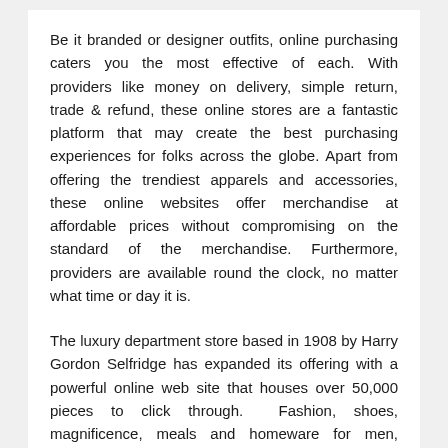Be it branded or designer outfits, online purchasing caters you the most effective of each. With providers like money on delivery, simple return, trade & refund, these online stores are a fantastic platform that may create the best purchasing experiences for folks across the globe. Apart from offering the trendiest apparels and accessories, these online websites offer merchandise at affordable prices without compromising on the standard of the merchandise. Furthermore, providers are available round the clock, no matter what time or day it is.
The luxury department store based in 1908 by Harry Gordon Selfridge has expanded its offering with a powerful online web site that houses over 50,000 pieces to click through. Fashion, shoes, magnificence, meals and homeware for men, women and children are all on offer from over 5,000 manufacturers like Chanel, Alexander McQueen, Gucci, La Mer, Saint Laurent and Dior. The Knightsbridge-based establishment has expanded its already wide providing online so you'll have the ability to shop luxury items throughout all sectors. If under the